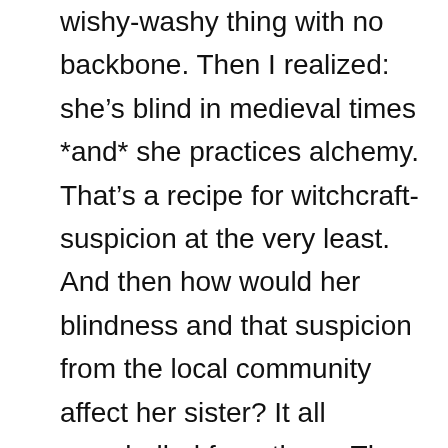wishy-washy thing with no backbone. Then I realized: she's blind in medieval times *and* she practices alchemy. That's a recipe for witchcraft-suspicion at the very least. And then how would her blindness and that suspicion from the local community affect her sister? It all snowballed from there. They are outcasts, both of them. And because of that, they don't start out as very nice people!